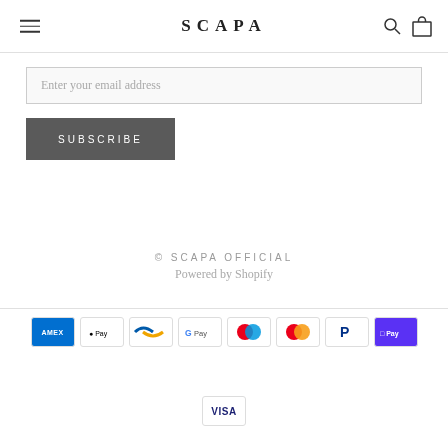SCAPA
Enter your email address
SUBSCRIBE
© SCAPA OFFICIAL
Powered by Shopify
[Figure (other): Payment method icons: American Express, Apple Pay, Bancontact, Google Pay, Maestro, Mastercard, PayPal, Shop Pay, Visa]